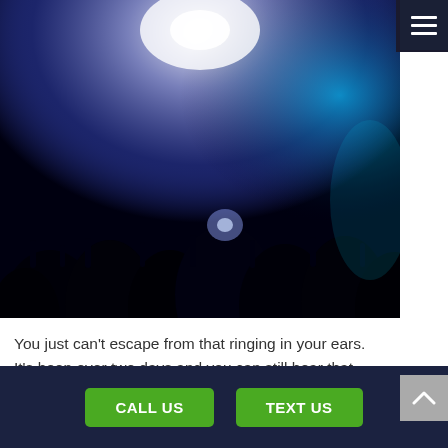[Figure (photo): Concert crowd scene with blue/purple stage lighting, silhouettes of people with hands raised in a darkened venue]
You just can’t escape from that ringing in your ears. It’s been over two days and you can still hear that nagging buzzing in your ears. you realize that the buzzing is tinnitus but your beginning to be concerned about how long it will last.
Tinnitus can be caused by injury to the
CALL US   TEXT US